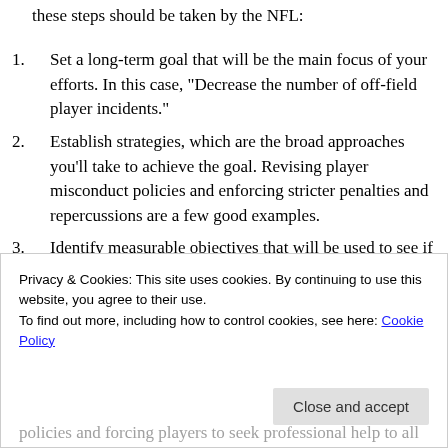these steps should be taken by the NFL:
Set a long-term goal that will be the main focus of your efforts. In this case, "Decrease the number of off-field player incidents."
Establish strategies, which are the broad approaches you'll take to achieve the goal. Revising player misconduct policies and enforcing stricter penalties and repercussions are a few good examples.
Identify measurable objectives that will be used to see if the strategies are being met. Banning or suspending players who act out could be an objective that's easily
Privacy & Cookies: This site uses cookies. By continuing to use this website, you agree to their use.
To find out more, including how to control cookies, see here: Cookie Policy
policies and forcing players to seek professional help to all